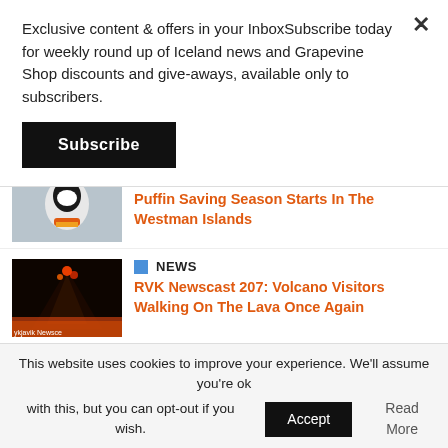Exclusive content & offers in your InboxSubscribe today for weekly round up of Iceland news and Grapevine Shop discounts and give-aways, available only to subscribers.
Subscribe
Puffin Saving Season Starts In The Westman Islands
NEWS
RVK Newscast 207: Volcano Visitors Walking On The Lava Once Again
NEWS
Four People Sentenced In Largest Cocaine Case In Icelandic History
This website uses cookies to improve your experience. We'll assume you're ok with this, but you can opt-out if you wish.
Accept
Read More